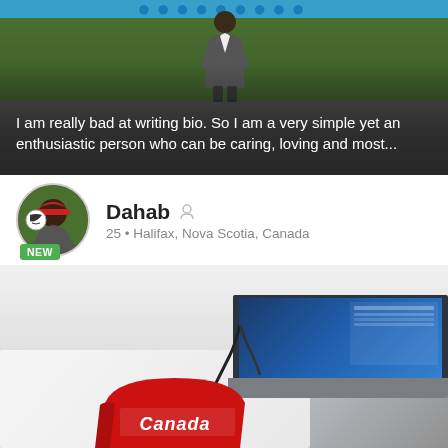[Figure (photo): Top portion shows a person standing on a grassy/dark field, with a teal/blue header bar at top, overlaid with a dark semi-transparent bio text section]
I am really bad at writing bio. So I am a very simple yet an enthusiastic person who can be caring, loving and most...
[Figure (photo): Profile card showing a circular avatar photo of a man wearing a red cap with soccer ball, a green NEW badge below the avatar, name 'Dahab' with a person icon, and location '25 • Halifax, Nova Scotia, Canada']
Dahab
25 • Halifax, Nova Scotia, Canada
[Figure (photo): Bottom photo showing a bedroom/desk scene with a laptop computer open showing a blue screen on the right side, white bedding/surface in the center-left, cables, and a red Canada hat in the foreground bottom center]